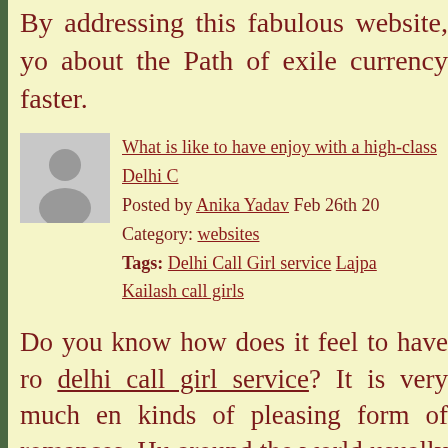By addressing this fabulous website, you about the Path of exile currency faster.
[Figure (illustration): Gray avatar/person placeholder icon]
What is like to have enjoy with a high-class Delhi C...
Posted by Anika Yadav Feb 26th 20...
Category: websites
Tags: Delhi Call Girl service Lajpa... Kailash call girls
Do you know how does it feel to have ro... delhi call girl service? It is very much en... kinds of pleasing form of romances. Hu... around the world usually love mingling w... never mind to have the best effective for...